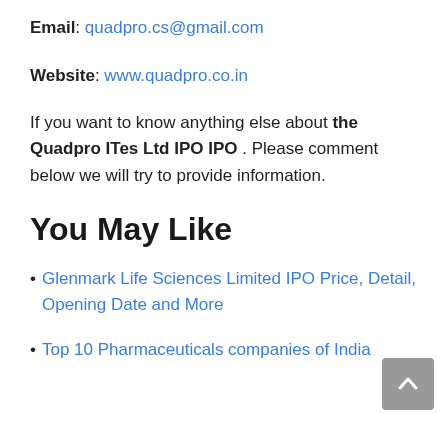Email: quadpro.cs@gmail.com
Website: www.quadpro.co.in
If you want to know anything else about the Quadpro ITes Ltd IPO IPO . Please comment below we will try to provide information.
You May Like
Glenmark Life Sciences Limited IPO Price, Detail, Opening Date and More
Top 10 Pharmaceuticals companies of India